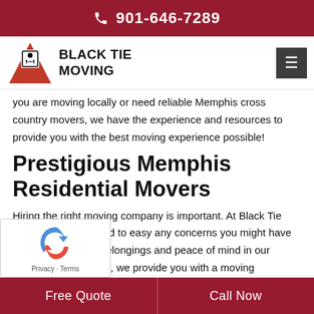901-646-7289
[Figure (logo): Black Tie Moving company logo with red triangular shape and stylized figure in black and white, next to bold text reading BLACK TIE MOVING]
you are moving locally or need reliable Memphis cross country movers, we have the experience and resources to provide you with the best moving experience possible!
Prestigious Memphis Residential Movers
Hiring the right moving company is important. At Black Tie Moving, we work hard to easy any concerns you might have when placing your belongings and peace of mind in our hands. To get started, we provide you with a moving consultation, at which time a moving specialist will answer any questions you have and provide you with a custom moving plan and detailed written estimate. Should you choose us, we a move
Free Quote   Call Now